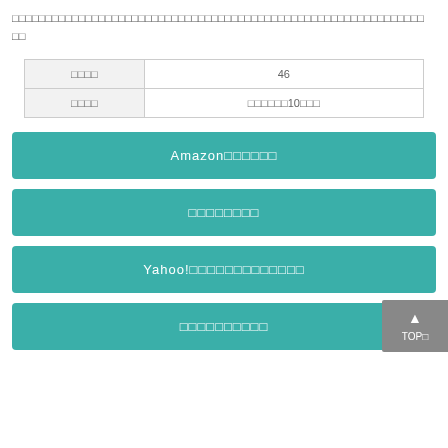□□□□□□□□□□□□□□□□□□□□□□□□□□□□□□□□□□□□□□□□□□□□□□□□□□□□□□□□□□□□□□
| □□□□ | 46 |
| □□□□ | □□□□□□10□□□ |
Amazon□□□□□□
□□□□□□□□
Yahoo!□□□□□□□□□□□□□
□□□□□□□□□□